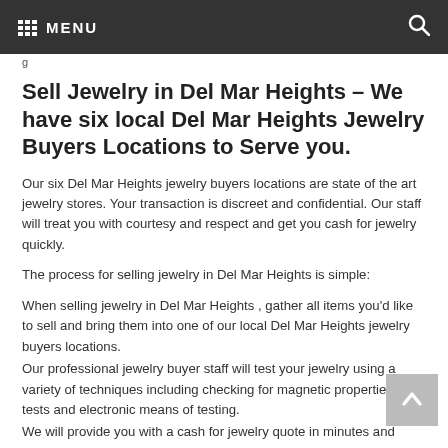MENU
Sell Jewelry in Del Mar Heights – We have six local Del Mar Heights Jewelry Buyers Locations to Serve you.
Our six Del Mar Heights jewelry buyers locations are state of the art jewelry stores. Your transaction is discreet and confidential. Our staff will treat you with courtesy and respect and get you cash for jewelry quickly.
The process for selling jewelry in Del Mar Heights is simple:
When selling jewelry in Del Mar Heights , gather all items you'd like to sell and bring them into one of our local Del Mar Heights jewelry buyers locations.
Our professional jewelry buyer staff will test your jewelry using a variety of techniques including checking for magnetic properties, acid tests and electronic means of testing.
We will provide you with a cash for jewelry quote in minutes and